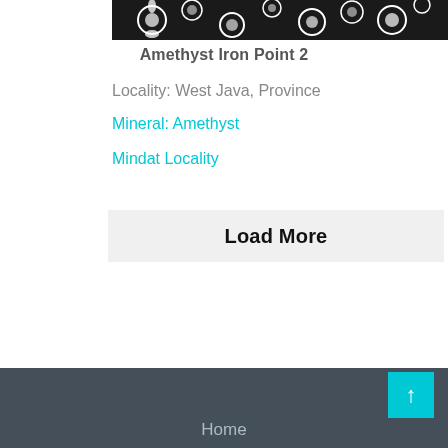[Figure (photo): Black and white floral pattern image at top of card]
Amethyst Iron Point 2
Locality: West Java, Province
Mineral: Amethyst
Mindat Locality
Load More
Home